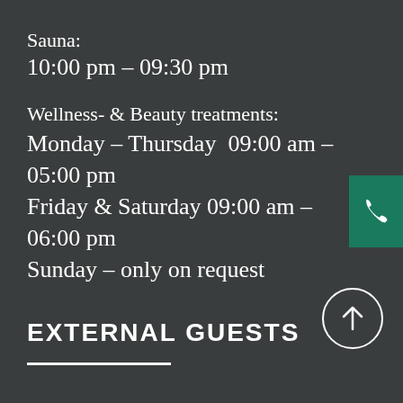Sauna:
10:00 pm – 09:30 pm
Wellness- & Beauty treatments:
Monday – Thursday  09:00 am – 05:00 pm
Friday & Saturday 09:00 am – 06:00 pm
Sunday – only on request
EXTERNAL GUESTS